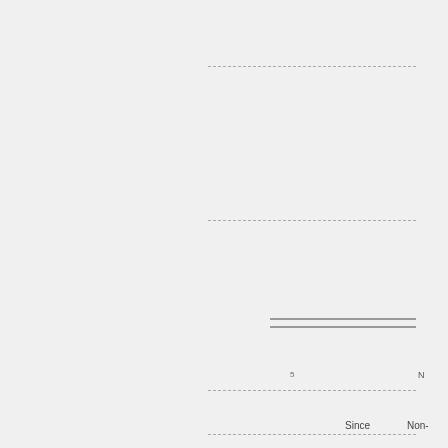[Figure (other): Form page with dashed lines for writing, a double-line separator, and partial text labels: '5', 'N', 'Since', 'Non-']
5
N
Since
Non-